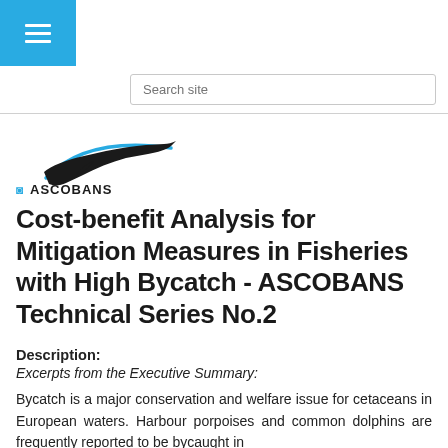Menu button / navigation icon
Search site
[Figure (logo): ASCOBANS logo with stylized porpoise/dolphin graphic and blue arc above the ASCOBANS wordmark]
Cost-benefit Analysis for Mitigation Measures in Fisheries with High Bycatch - ASCOBANS Technical Series No.2
Description:
Excerpts from the Executive Summary:
Bycatch is a major conservation and welfare issue for cetaceans in European waters. Harbour porpoises and common dolphins are frequently reported to be bycaught in